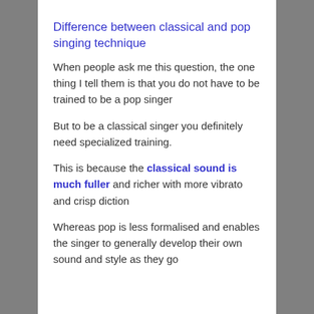Difference between classical and pop singing technique
When people ask me this question, the one thing I tell them is that you do not have to be trained to be a pop singer
But to be a classical singer you definitely need specialized training.
This is because the classical sound is much fuller and richer with more vibrato and crisp diction
Whereas pop is less formalised and enables the singer to generally develop their own sound and style as they go